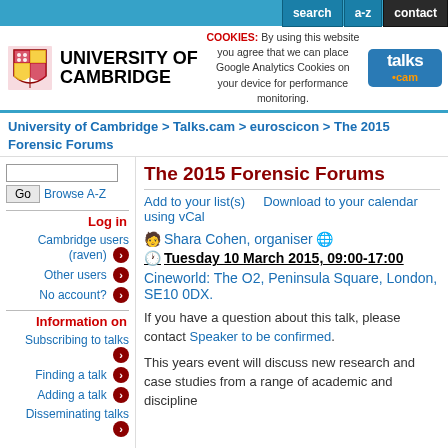search | a-z | contact
[Figure (logo): University of Cambridge logo with shield and text, plus talks.cam logo, and cookie notice]
University of Cambridge > Talks.cam > euroscicon > The 2015 Forensic Forums
The 2015 Forensic Forums
Add to your list(s)    Download to your calendar using vCal
Shara Cohen, organiser
Tuesday 10 March 2015, 09:00-17:00
Cineworld: The O2, Peninsula Square, London, SE10 0DX.
If you have a question about this talk, please contact Speaker to be confirmed.
This years event will discuss new research and case studies from a range of academic and discipline
Log in
Cambridge users (raven)
Other users
No account?
Information on
Subscribing to talks
Finding a talk
Adding a talk
Disseminating talks